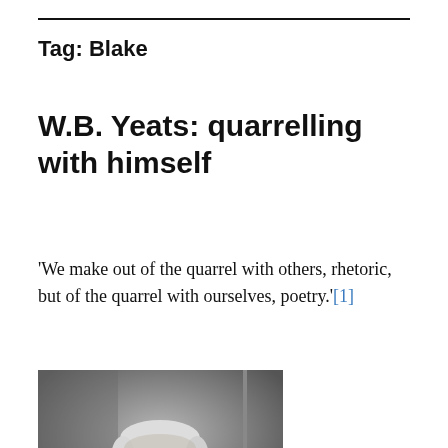Tag: Blake
W.B. Yeats: quarrelling with himself
'We make out of the quarrel with others, rhetoric, but of the quarrel with ourselves, poetry.'[1]
[Figure (photo): Black and white photograph of W.B. Yeats, an elderly man with white hair and round glasses, wearing a suit with a bow tie, facing slightly to the side.]